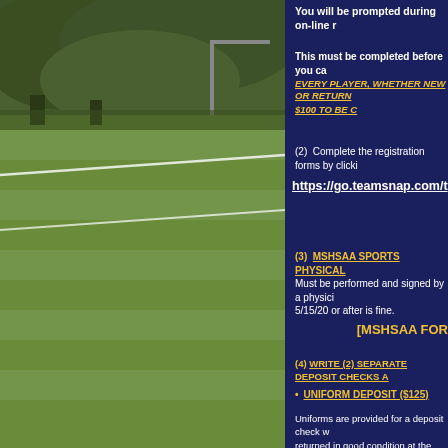[Figure (photo): Outdoor soccer field with green grass, field markings, and trees/foliage in the background. A goal post or net structure is partially visible.]
You will be prompted during on-line r
This must be completed before you ca
EVERY PLAYER, WHETHER NEW OR RETURN
$100 TO BE C
(2)  Complete the registration forms by clicki
https://go.teamsnap.com/t
(3)   MSHSAA SPORTS PHYSICAL
Must be performed and signed by a physici 5/15/20 or after is fine.
[MSHSAA FOR
(4)  WRITE (2) SEPARATE DEPOSIT CHECKS A
UNIFORM DEPOSIT ($125)
Uniforms are provided for a deposit check w returned in good condition at the last game